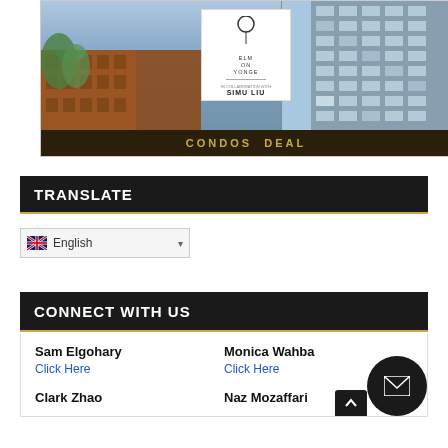[Figure (photo): Architectural rendering/photo of a modern condominium building (Elm on Yonge, in collaboration with Simu Liu) with a white sign overlay in the center and 'CONDOS DEAL' text at the bottom in gold letters on dark background]
TRANSLATE
English (language selector dropdown with UK flag)
CONNECT WITH US
Sam Elgohary
Click Here

Clark Zhao
Monica Wahba
Click Here

Naz Mozaffari